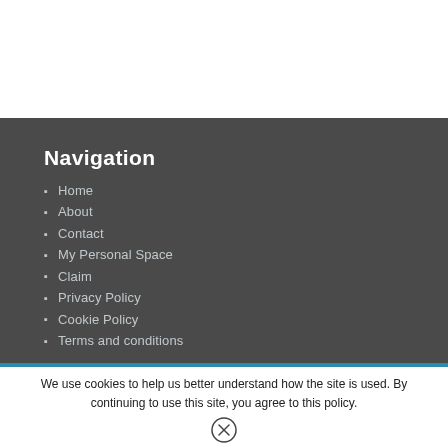Navigation
Home
About
Contact
My Personal Space
Claim
Privacy Policy
Cookie Policy
Terms and conditions
We use cookies to help us better understand how the site is used. By continuing to use this site, you agree to this policy.